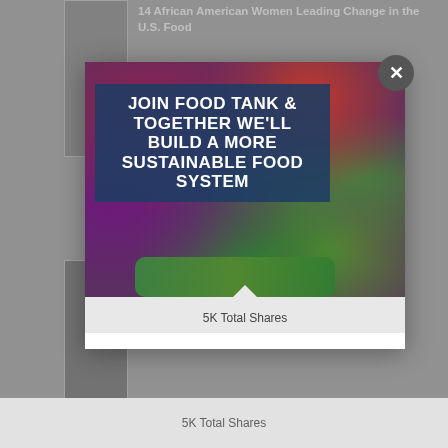[Figure (screenshot): Background webpage showing article thumbnails and partial title '14 African American Women Leading Change in the U.S. Food']
[Figure (illustration): Modal popup overlay with a photo of vegetables (beets, tomatoes, red cabbage, cucumber, green cabbage) with bold white text on a dark blue overlay panel reading 'JOIN FOOD TANK & TOGETHER WE'LL BUILD A MORE SUSTAINABLE FOOD SYSTEM']
5K Total Shares